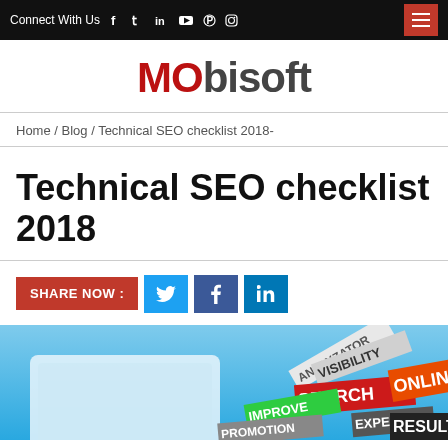Connect With Us  f  t  in  yt  p  ig
[Figure (logo): MObisoft logo in red and gray stylized text]
Home / Blog / Technical SEO checklist 2018-
Technical SEO checklist 2018
SHARE NOW :  [Twitter] [Facebook] [LinkedIn]
[Figure (infographic): SEO infographic with colorful overlapping label tags showing words: ANALYZATOR, VISIBILITY, IMPROVE, SEARCH, ONLINE, PROMOTION, EXPERT, RESULT on a blue background]